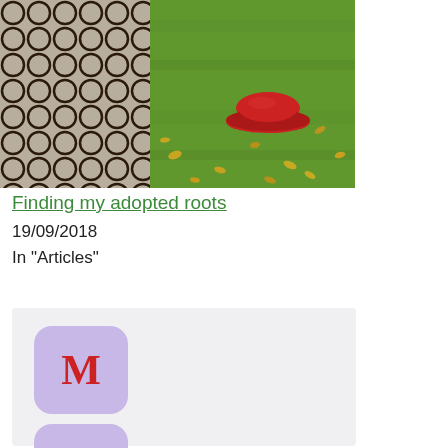[Figure (photo): Photo of fishnet-patterned legs on the left and green grass with scattered yellow autumn leaves and a red wide-brim hat lying on the ground]
Finding my adopted roots
19/09/2018
In "Articles"
[Figure (infographic): Social sharing buttons: Medium (M) icon and Twitter bird icon, both in purple rounded-square buttons]